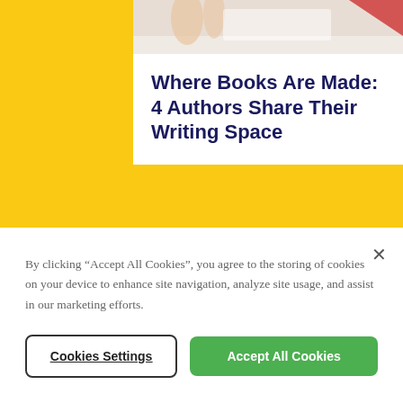[Figure (photo): Partial view of hands or objects on a desk, cropped at top of page]
Where Books Are Made: 4 Authors Share Their Writing Space
[Figure (photo): Close-up of a silver microphone with colorful blurred background]
By clicking “Accept All Cookies”, you agree to the storing of cookies on your device to enhance site navigation, analyze site usage, and assist in our marketing efforts.
Cookies Settings
Accept All Cookies